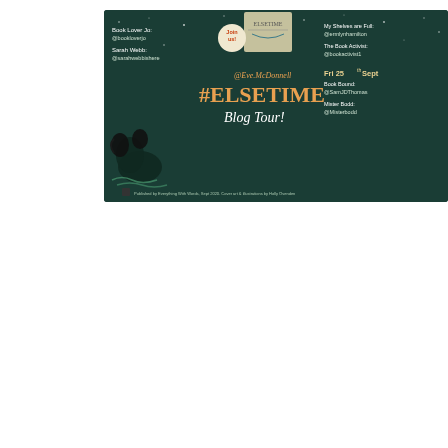[Figure (infographic): Blog tour banner for #ElseTime by @Eve_McDonnell on dark green background with stars and raven illustration. Shows schedule for Fri 25th Sept with bloggers listed on left and right sides including Book Lover Jo @bookloverjo, Sarah Webb @sarahwebbishere, My Shelves are Full @ermlynhamilton, The Book Activist @bookactivist1, Book Bound @SamJDThomas, Mister Bodd @Misterbodd. Published by Everything With Words Sept 2020. Cover art & illustrations by Holly Ovenden.]
[Figure (infographic): Blog tour banner for Moonchild by Aisha Bushby. Purple/blue dreamy sky background with book cover on left and schedule: MON 3rd - Book Lover Jo (Review) Twitter @bookloverjo; TUE 4th - Library Girl & Book Boy (Review + Q&A) Twitter @BookSuperheroz; WED 5th - Get Kids Into Books (Review + Q&A) Twitter @GetKidsIntoBooks; THUR 6th - A Little But a Lot (Review + Q&A) Twitter @karendel; FRI 7th - Teen Librarian (Review + Q&A) Twitter @CosApt1; SAT 8th - The Book Activist (Review) Twitter @bookactivist1]